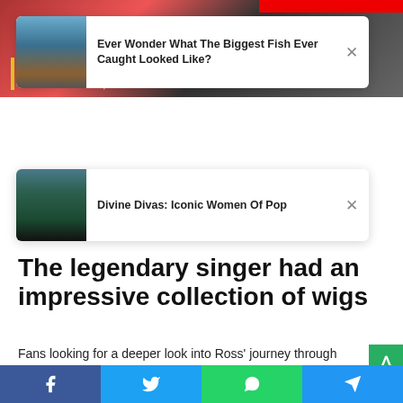[Figure (screenshot): Top banner image showing The Supremes text with date September 25, 1966 overlaid on a dark background with red elements]
[Figure (screenshot): Ad card 1: Ever Wonder What The Biggest Fish Ever Caught Looked Like? with thumbnail of lake/fishing scene]
[Figure (screenshot): Ad card 2: Divine Divas: Iconic Women Of Pop with thumbnail of woman in green]
allowfullscreen
The legendary singer had an impressive collection of wigs
Fans looking for a deeper look into Ross' journey through her hairstyles need look no further than Essence. From the shorter bobs she wore as part of The Supremes from the early 196 to the mid-2010s, the website features 47 of Ross' iconic
[Figure (screenshot): Social share bar with Facebook, Twitter, WhatsApp, and Telegram buttons at bottom of page]